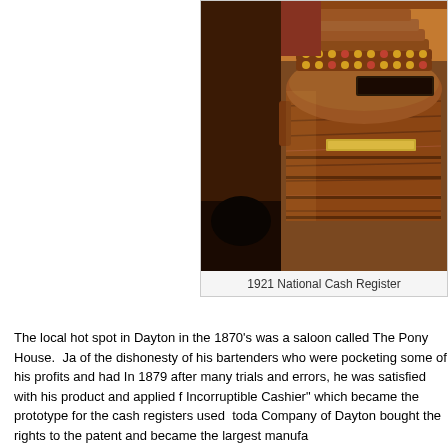[Figure (photo): Photograph of a 1921 National Cash Register, an antique wooden cash register with ornate brass keys and curved top, displayed indoors.]
1921 National Cash Register
The local hot spot in Dayton in the 1870's was a saloon called The Pony House.  Ja of the dishonesty of his bartenders who were pocketing some of his profits and had In 1879 after many trials and errors, he was satisfied with his product and applied f Incorruptible Cashier" which became the prototype for the cash registers used  toda Company of Dayton bought the rights to the patent and became the largest manufa
The Canal Commission Museum has a National Cash Register electric model mad Clothing, one of the oldest continuing businesses in Delphos.  It was donated by R